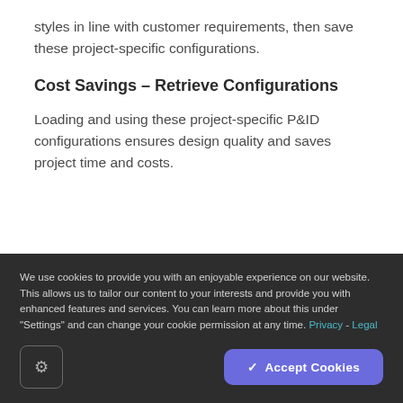styles in line with customer requirements, then save these project-specific configurations.
Cost Savings – Retrieve Configurations
Loading and using these project-specific P&ID configurations ensures design quality and saves project time and costs.
We use cookies to provide you with an enjoyable experience on our website. This allows us to tailor our content to your interests and provide you with enhanced features and services. You can learn more about this under "Settings" and can change your cookie permission at any time. Privacy - Legal